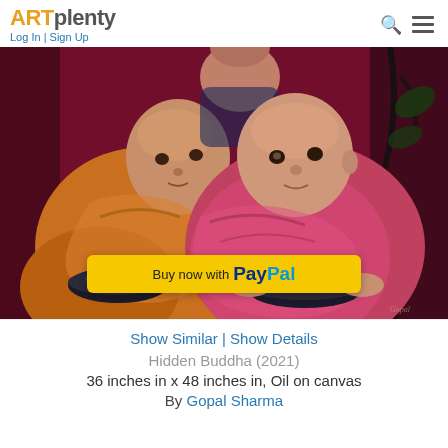ARTplenty Log In | Sign Up
[Figure (photo): Painting of two young Buddhist monks in orange and pink robes holding dark bowls, against a deep red/purple background with dark botanical elements. A yellow PayPal 'Buy now with PayPal' button is overlaid in the lower center.]
Show Similar | Show Details
Hidden Buddha (2021)
36 inches in x 48 inches in, Oil on canvas
By Gopal Sharma